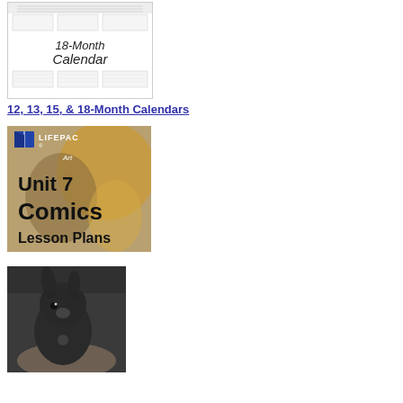[Figure (illustration): 18-Month Calendar thumbnail image showing a grid calendar layout with text '18-Month Calendar']
12, 13, 15, & 18-Month Calendars
[Figure (illustration): LIFEPAC Art Unit 7 Comics Lesson Plans cover image with logo and artistic background]
[Figure (photo): Photo of a small dark-colored bunny/rabbit being held in someone's hand]